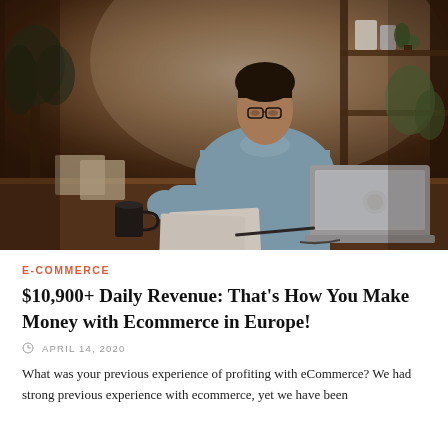[Figure (photo): Man with glasses in a light blue button-up shirt sitting at a wooden desk working on a laptop. Behind him are bookshelves with plants, and there are papers and a mug on the desk. Warm, dim indoor lighting.]
E-COMMERCE
$10,900+ Daily Revenue: That’s How You Make Money with Ecommerce in Europe!
APRIL 14, 2020
What was your previous experience of profiting with eCommerce? We had strong previous experience with ecommerce, yet we have been